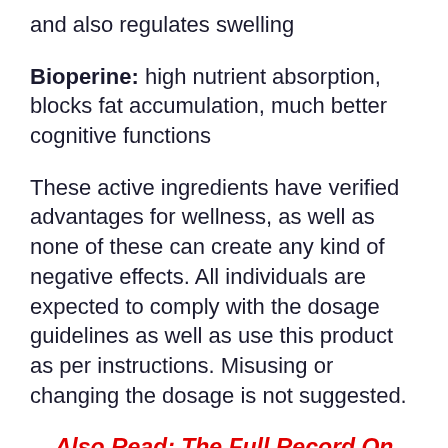and also regulates swelling
Bioperine: high nutrient absorption, blocks fat accumulation, much better cognitive functions
These active ingredients have verified advantages for wellness, as well as none of these can create any kind of negative effects. All individuals are expected to comply with the dosage guidelines as well as use this product as per instructions. Misusing or changing the dosage is not suggested.
Also Read: The Full Record On Lean Belly Juice Controversy That Will Impact Your Mind